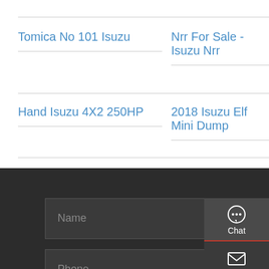Tomica No 101 Isuzu
Nrr For Sale - Isuzu Nrr
Hand Isuzu 4X2 250HP
2018 Isuzu Elf Mini Dump
[Figure (screenshot): Contact sidebar with Chat, Email, Contact, and Top buttons on dark background]
Name
Phone
Email